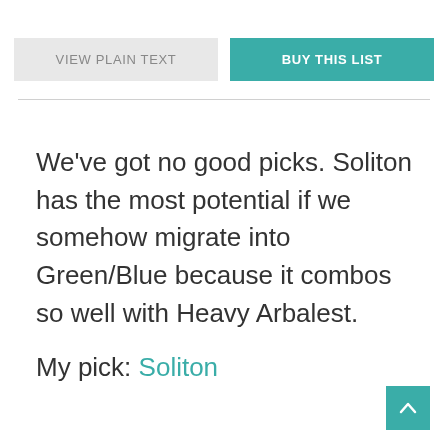[Figure (other): Two buttons: 'VIEW PLAIN TEXT' (grey) and 'BUY THIS LIST' (teal)]
We've got no good picks. Soliton has the most potential if we somehow migrate into Green/Blue because it combos so well with Heavy Arbalest.
My pick: Soliton